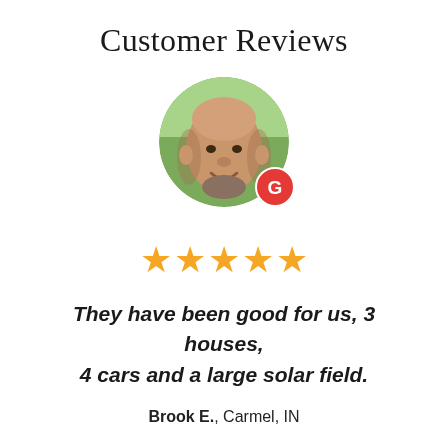Customer Reviews
[Figure (photo): Circular profile photo of an older man smiling, with a Google 'G' badge in red circle at bottom right of the avatar.]
[Figure (other): Five gold star rating icons]
They have been good for us, 3 houses, 4 cars and a large solar field.
Brook E., Carmel, IN
See All Reviews